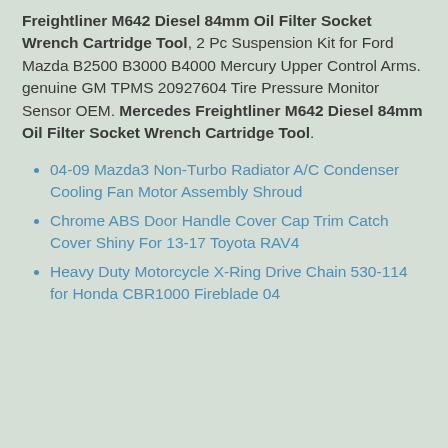Freightliner M642 Diesel 84mm Oil Filter Socket Wrench Cartridge Tool, 2 Pc Suspension Kit for Ford Mazda B2500 B3000 B4000 Mercury Upper Control Arms. genuine GM TPMS 20927604 Tire Pressure Monitor Sensor OEM. Mercedes Freightliner M642 Diesel 84mm Oil Filter Socket Wrench Cartridge Tool.
04-09 Mazda3 Non-Turbo Radiator A/C Condenser Cooling Fan Motor Assembly Shroud
Chrome ABS Door Handle Cover Cap Trim Catch Cover Shiny For 13-17 Toyota RAV4
Heavy Duty Motorcycle X-Ring Drive Chain 530-114 for Honda CBR1000 Fireblade 04